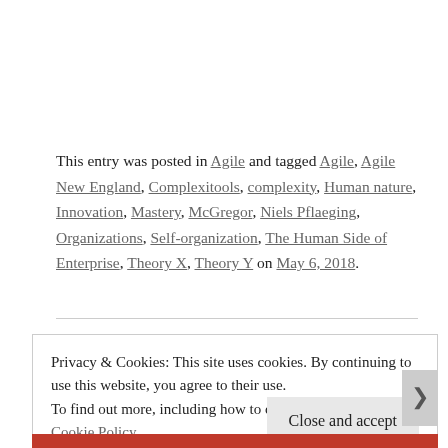This entry was posted in Agile and tagged Agile, Agile New England, Complexitools, complexity, Human nature, Innovation, Mastery, McGregor, Niels Pflaeging, Organizations, Self-organization, The Human Side of Enterprise, Theory X, Theory Y on May 6, 2018.
Privacy & Cookies: This site uses cookies. By continuing to use this website, you agree to their use.
To find out more, including how to control cookies, see here: Cookie Policy